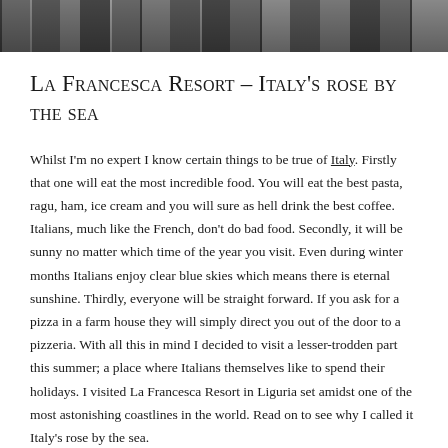[Figure (photo): Black and white photo strip at the top of the page showing partial images of people]
La Francesca Resort – Italy's rose by the sea
Whilst I'm no expert I know certain things to be true of Italy. Firstly that one will eat the most incredible food. You will eat the best pasta, ragu, ham, ice cream and you will sure as hell drink the best coffee. Italians, much like the French, don't do bad food. Secondly, it will be sunny no matter which time of the year you visit. Even during winter months Italians enjoy clear blue skies which means there is eternal sunshine. Thirdly, everyone will be straight forward. If you ask for a pizza in a farm house they will simply direct you out of the door to a pizzeria. With all this in mind I decided to visit a lesser-trodden part this summer; a place where Italians themselves like to spend their holidays. I visited La Francesca Resort in Liguria set amidst one of the most astonishing coastlines in the world. Read on to see why I called it Italy's rose by the sea.